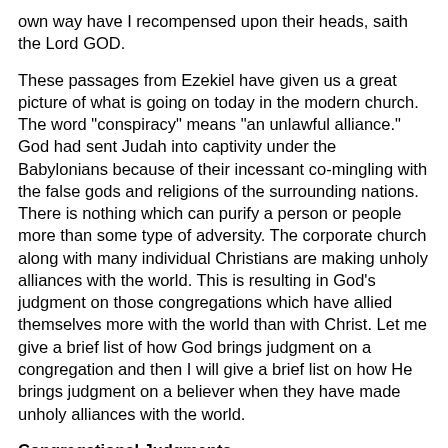own way have I recompensed upon their heads, saith the Lord GOD.
These passages from Ezekiel have given us a great picture of what is going on today in the modern church. The word "conspiracy" means "an unlawful alliance." God had sent Judah into captivity under the Babylonians because of their incessant co-mingling with the false gods and religions of the surrounding nations. There is nothing which can purify a person or people more than some type of adversity. The corporate church along with many individual Christians are making unholy alliances with the world. This is resulting in God's judgment on those congregations which have allied themselves more with the world than with Christ. Let me give a brief list of how God brings judgment on a congregation and then I will give a brief list on how He brings judgment on a believer when they have made unholy alliances with the world.
Congregational Judgments
Signs, Wonders and Tongues in the church
False Bible versions (Amos 8:11)
Unbelievers rule as elders or deacons
Women pastors, elders, or deacons
Contemporary Christian Rock music instead of…